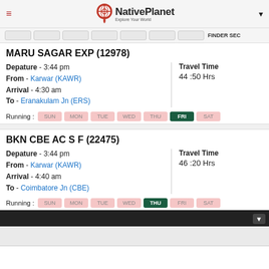NativePlanet - Explore Your World
MARU SAGAR EXP (12978)
Depature - 3:44 pm
From - Karwar (KAWR)
Arrival - 4:30 am
To - Eranakulam Jn (ERS)
Running: SUN MON TUE WED THU FRI SAT
Travel Time: 44:50 Hrs
BKN CBE AC S F (22475)
Depature - 3:44 pm
From - Karwar (KAWR)
Arrival - 4:40 am
To - Coimbatore Jn (CBE)
Running: SUN MON TUE WED THU FRI SAT
Travel Time: 46:20 Hrs